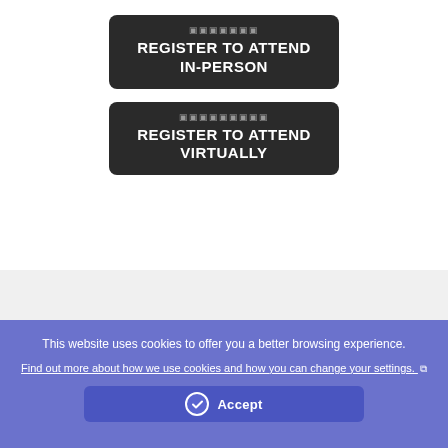[Figure (screenshot): Dark button with icon symbols and text 'REGISTER TO ATTEND IN-PERSON']
[Figure (screenshot): Dark button with icon symbols and text 'REGISTER TO ATTEND VIRTUALLY']
This website uses cookies to offer you a better browsing experience.
Find out more about how we use cookies and how you can change your settings.
Accept